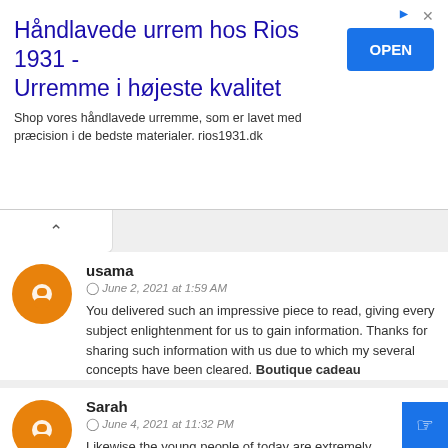[Figure (infographic): Advertisement banner: Håndlavede urrem hos Rios 1931 - Urremme i højeste kvalitet, with OPEN button]
Håndlavede urrem hos Rios 1931 - Urremme i højeste kvalitet
Shop vores håndlavede urremme, som er lavet med præcision i de bedste materialer. rios1931.dk
usama
June 2, 2021 at 1:59 AM
You delivered such an impressive piece to read, giving every subject enlightenment for us to gain information. Thanks for sharing such information with us due to which my several concepts have been cleared. Boutique cadeau
Reply
Sarah
June 4, 2021 at 11:32 PM
Likewise the young people of today are extremely commonsense in their feeling of styling for a specific event. Be it a gathering or for a marriage or the easygoing look, they need the best and they trust in looking the best. Furthermore, to accomplish this